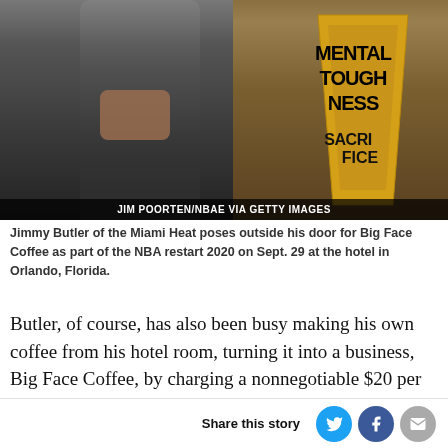[Figure (photo): Jimmy Butler of the Miami Heat poses outside his hotel door holding a cup, next to a decorated cup/poster with text 'MENTAL TOUGHNESS SACRIFICE'. Photo credit: JIM POORTEN/NBAE VIA GETTY IMAGES]
Jimmy Butler of the Miami Heat poses outside his door for Big Face Coffee as part of the NBA restart 2020 on Sept. 29 at the hotel in Orlando, Florida.
Butler, of course, has also been busy making his own coffee from his hotel room, turning it into a business, Big Face Coffee, by charging a nonnegotiable $20 per cup. (Don't be surprised if Big Face Coffee goes mainstream, too. Lee says that Butler has a number of new major endorsements coming his way from his time in the bubble.)